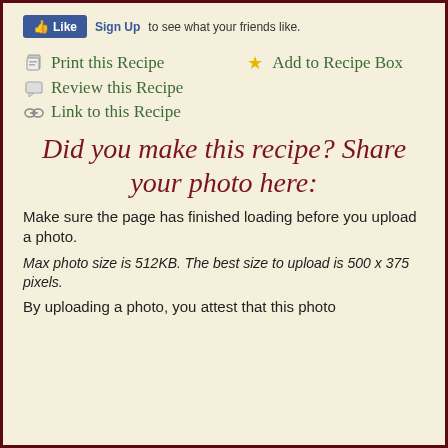[Figure (screenshot): Facebook Like button with Sign Up link]
Print this Recipe
Add to Recipe Box
Review this Recipe
Link to this Recipe
Did you make this recipe? Share your photo here:
Make sure the page has finished loading before you upload a photo.
Max photo size is 512KB. The best size to upload is 500 x 375 pixels.
By uploading a photo, you attest that this photo